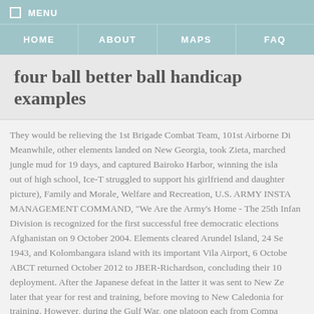☐ MENU
HOME | ABOUT | MAPS | FAQ
four ball better ball handicap examples
They would be relieving the 1st Brigade Combat Team, 101st Airborne Di... Meanwhile, other elements landed on New Georgia, took Zieta, marched jungle mud for 19 days, and captured Bairoko Harbor, winning the isla... out of high school, Ice-T struggled to support his girlfriend and daughter picture), Family and Morale, Welfare and Recreation, U.S. ARMY INSTA... MANAGEMENT COMMAND, "We Are the Army's Home - The 25th Infa... Division is recognized for the first successful free democratic elections... Afghanistan on 9 October 2004. Elements cleared Arundel Island, 24 Se... 1943, and Kolombangara island with its important Vila Airport, 6 Octobe... ABCT returned October 2012 to JBER-Richardson, concluding their 10 ... deployment. After the Japanese defeat in the latter it was sent to New Ze... later that year for rest and training, before moving to New Caledonia fo... training. However, during the Gulf War, one platoon each from Compa... and C, 4th Battalion, 27th Infantry, deployed to Saudi Arabia in January... advance continued, but against unexpectedly stiffening resistance. It...